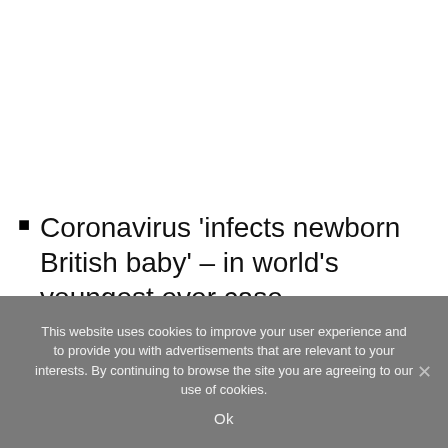Coronavirus 'infects newborn British baby' – in world's youngest ever case
Prime Minister Boris Johnson said some Brits
This website uses cookies to improve your user experience and to provide you with advertisements that are relevant to your interests. By continuing to browse the site you are agreeing to our use of cookies.
Ok